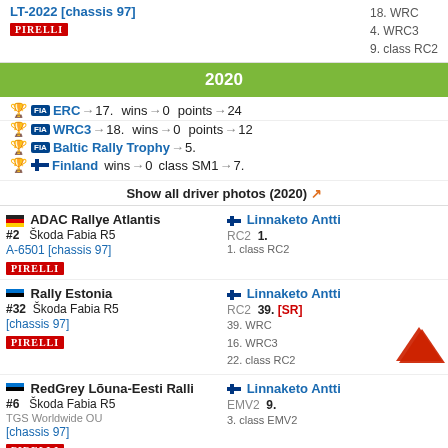LT-2022 [chassis 97] | 18. WRC | 4. WRC3 | 9. class RC2
2020
ERC → 17.   wins → 0   points → 24
WRC3 → 18.   wins → 0   points → 12
Baltic Rally Trophy → 5.
Finland   wins → 0  class SM1 → 7.
Show all driver photos (2020)
ADAC Rallye Atlantis | #2 Škoda Fabia R5 | A-6501 [chassis 97] | Pirelli | Linnaketo Antti | RC2 1. | 1. class RC2
Rally Estonia | #32 Škoda Fabia R5 | [chassis 97] | Pirelli | Linnaketo Antti | RC2 39. [SR] | 39. WRC | 16. WRC3 | 22. class RC2
RedGrey Lõuna-Eesti Ralli | #6 Škoda Fabia R5 | TGS Worldwide OU | [chassis 97] | Pirelli | Linnaketo Antti | EMV2 9. | 3. class EMV2
Rally Liepāja | Linnaketo Antti